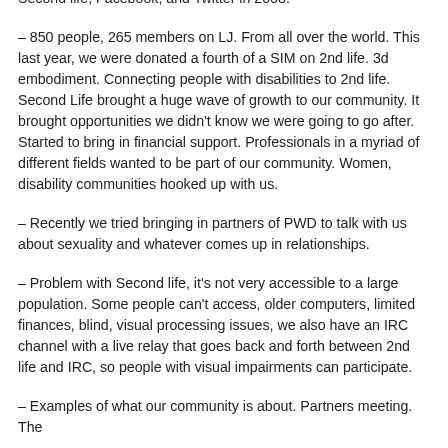Second life, Facebook, and Twitter in 2008.
– 850 people, 265 members on LJ. From all over the world. This last year, we were donated a fourth of a SIM on 2nd life. 3d embodiment. Connecting people with disabilities to 2nd life. Second Life brought a huge wave of growth to our community. It brought opportunities we didn't know we were going to go after. Started to bring in financial support. Professionals in a myriad of different fields wanted to be part of our community. Women, disability communities hooked up with us.
– Recently we tried bringing in partners of PWD to talk with us about sexuality and whatever comes up in relationships.
– Problem with Second life, it's not very accessible to a large population. Some people can't access, older computers, limited finances, blind, visual processing issues, we also have an IRC channel with a live relay that goes back and forth between 2nd life and IRC, so people with visual impairments can participate.
– Examples of what our community is about. Partners meeting. The